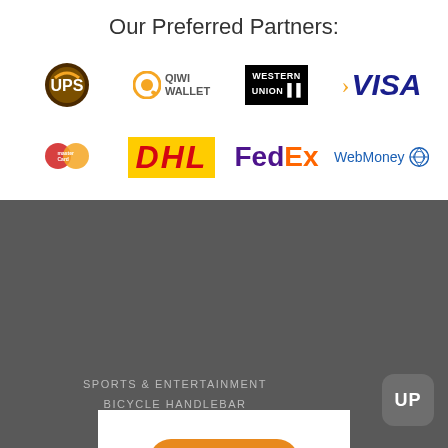Our Preferred Partners:
[Figure (logo): Partner logos row 1: UPS, QIWI Wallet, Western Union, VISA]
[Figure (logo): Partner logos row 2: MasterCard, DHL, FedEx, WebMoney]
[Figure (logo): Guy Stuff speech bubble logo on white background]
SPORTS & ENTERTAINMENT
BICYCLE HANDLEBAR